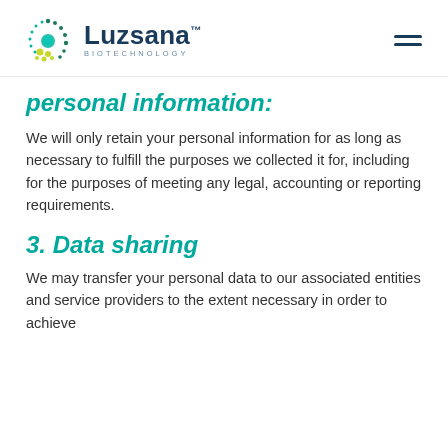[Figure (logo): Luzsana Biotechnology logo with circular dot motif in green and yellow, company name in dark navy blue, TM mark, and BIOTECHNOLOGY subtitle in small caps]
personal information:
We will only retain your personal information for as long as necessary to fulfill the purposes we collected it for, including for the purposes of meeting any legal, accounting or reporting requirements.
3. Data sharing
We may transfer your personal data to our associated entities and service providers to the extent necessary in order to achieve